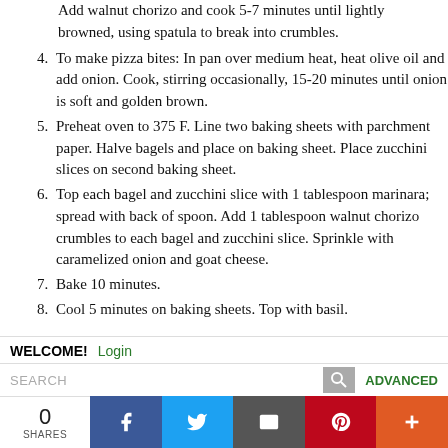Add walnut chorizo and cook 5-7 minutes until lightly browned, using spatula to break into crumbles.
4. To make pizza bites: In pan over medium heat, heat olive oil and add onion. Cook, stirring occasionally, 15-20 minutes until onion is soft and golden brown.
5. Preheat oven to 375 F. Line two baking sheets with parchment paper. Halve bagels and place on baking sheet. Place zucchini slices on second baking sheet.
6. Top each bagel and zucchini slice with 1 tablespoon marinara; spread with back of spoon. Add 1 tablespoon walnut chorizo crumbles to each bagel and zucchini slice. Sprinkle with caramelized onion and goat cheese.
7. Bake 10 minutes.
8. Cool 5 minutes on baking sheets. Top with basil.
WELCOME! Login SEARCH ADVANCED 0 SHARES
Social share buttons: Facebook, Twitter, Email, Pinterest, Plus